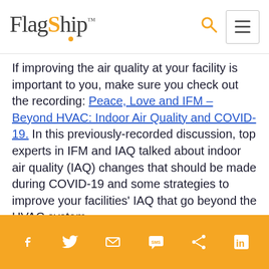FlagShip™
If improving the air quality at your facility is important to you, make sure you check out the recording: Peace, Love and IFM – Beyond HVAC: Indoor Air Quality and COVID-19. In this previously-recorded discussion, top experts in IFM and IAQ talked about indoor air quality (IAQ) changes that should be made during COVID-19 and some strategies to improve your facilities' IAQ that go beyond the HVAC system.
Social sharing icons: Facebook, Twitter, Email, SMS, Share, LinkedIn